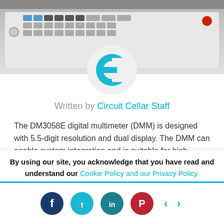[Figure (photo): Front panel of the DM3058E digital multimeter showing buttons and controls]
[Figure (logo): Circuit Cellar circular logo with stylized 'e' in teal on light grey background]
Written by Circuit Cellar Staff
The DM3058E digital multimeter (DMM) is designed with 5.5-digit resolution and dual display. The DMM can enable system integration and is suitable for high-precision, multifunction, and automatic measurement applications.
The
By using our site, you acknowledge that you have read and understand our Cookie Policy and our Privacy Policy.
[Figure (infographic): Social media share buttons: Facebook (dark blue), Twitter (light blue), LinkedIn (teal), Pinterest (red), and left/right navigation arrows in teal]